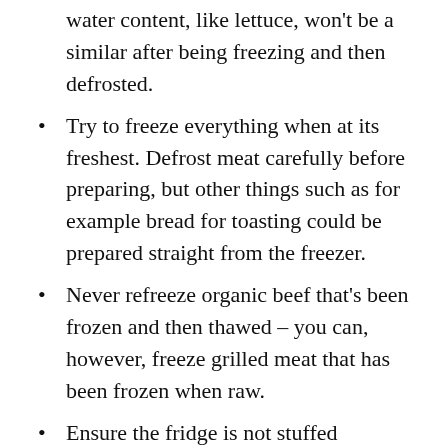water content, like lettuce, won't be a similar after being freezing and then defrosted.
Try to freeze everything when at its freshest. Defrost meat carefully before preparing, but other things such as for example bread for toasting could be prepared straight from the freezer.
Never refreeze organic beef that's been frozen and then thawed – you can, however, freeze grilled meat that has been frozen when raw.
Ensure the fridge is not stuffed therefore whole that air can not circulate.
Techniques for nuttier